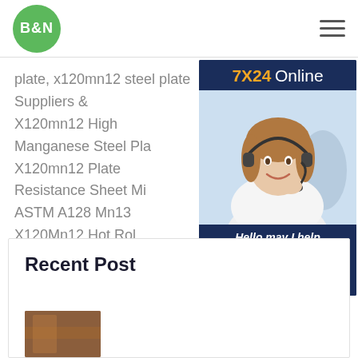[Figure (logo): B&N green circular logo]
plate, x120mn12 steel plate Suppliers & X120mn12 High Manganese Steel Plate X120mn12 Plate Resistance Sheet Mil ASTM A128 Mn13 X120Mn12 Hot Roll Manganese Steel Plate Cheapest Iron Construction US $1.59-$1.89 / Kilogram Kilograms (Min. Order)
[Figure (infographic): 7X24 Online chat support advertisement with photo of customer service representative and Get Latest Price button]
Recent Post
[Figure (photo): Partial thumbnail image at bottom]